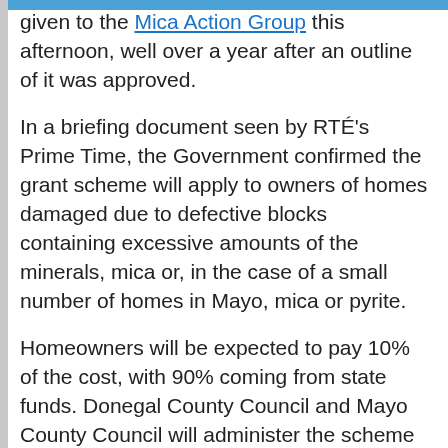given to the Mica Action Group this afternoon, well over a year after an outline of it was approved.
In a briefing document seen by RTÉ's Prime Time, the Government confirmed the grant scheme will apply to owners of homes damaged due to defective blocks containing excessive amounts of the minerals, mica or, in the case of a small number of homes in Mayo, mica or pyrite.
Homeowners will be expected to pay 10% of the cost, with 90% coming from state funds. Donegal County Council and Mayo County Council will administer the scheme and can begin taking applications for it within weeks, the Mica Action Group